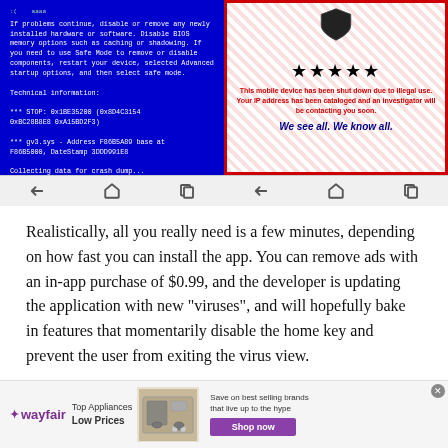[Figure (screenshot): Two Android phone screenshots side by side. Left: Blue Screen of Death (BSOD) fake virus screen with white monospace text on blue background showing technical error codes. Right: Scam screen with red border, shield icon, gold stars, red bold text saying the device has been shut down, and italic text 'We see all. We know all.']
Realistically, all you really need is a few minutes, depending on how fast you can install the app. You can remove ads with an in-app purchase of $0.99, and the developer is updating the application with new "viruses", and will hopefully bake in features that momentarily disable the home key and prevent the user from exiting the virus view.
[Figure (screenshot): Wayfair advertisement banner. Wayfair logo on left, 'Top Appliances Low Prices' text, image of a stove/range appliance in center, and 'Save on best selling brands that live up to the hype' with purple 'Shop now' button on right.]